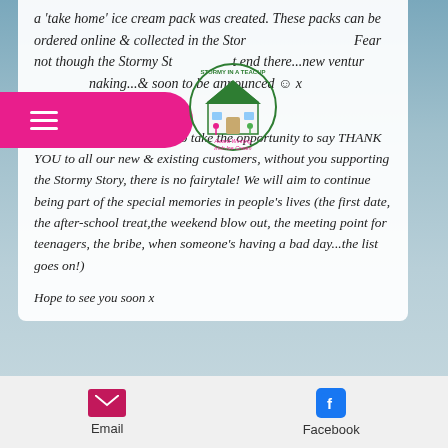a 'take home' ice cream pack was created. These packs can be ordered online & collected in the Store. Fear not though the Stormy Story doesn't end there...new ventures in the making...& soon to be announced 🙂 x
[Figure (logo): Stormy In A Teacup award winning Irish ice cream logo with house/shop illustration in green and pink]
Updated 19th May22
The family would just like to take the opportunity to say THANK YOU to all our new & existing customers, without you supporting the Stormy Story, there is no fairytale! We will aim to continue being part of the special memories in people's lives (the first date, the after-school treat,the weekend blow out, the meeting point for teenagers, the bribe, when someone's having a bad day...the list goes on!)
Hope to see you soon x
Email  Facebook